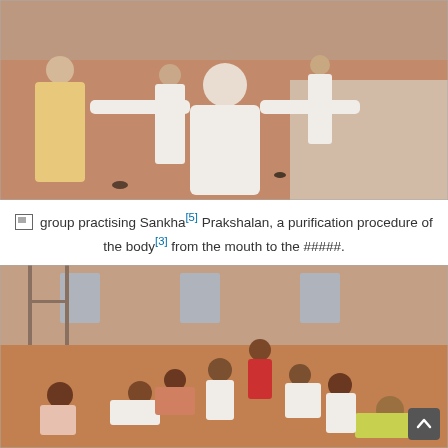[Figure (photo): Group of people practising yoga-style Sankha Prakshalan exercise outdoors on a terrace with orange/brown floor, wearing mostly white traditional Indian clothing. One man in the center wearing a white kurta stands with arms outstretched.]
group practising Sankha[5] Prakshalan, a purification procedure of the body[3] from the mouth to the #####.
[Figure (photo): Group of people seated and lying on an orange/brown floor in various yoga or stretching poses, inside or near a building. Multiple participants in colorful and white clothing performing different poses.]